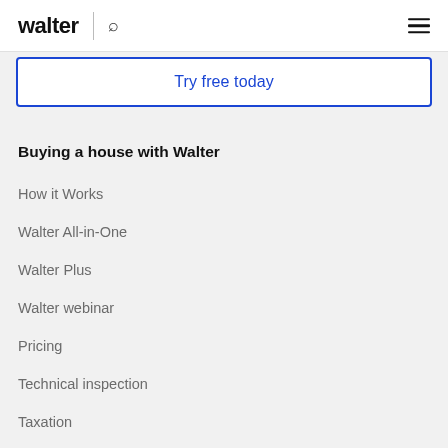walter
Try free today
Buying a house with Walter
How it Works
Walter All-in-One
Walter Plus
Walter webinar
Pricing
Technical inspection
Taxation